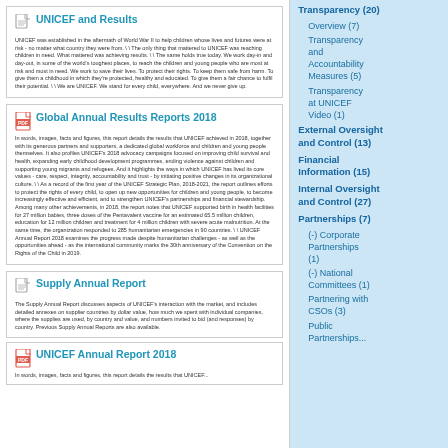UNICEF and Results
UNICEF was established in the aftermath of World War II to help children whose lives and futures were at risk - no matter what country they were from. \ The only thing that mattered to UNICEF was reaching children in need. What mattered was achieving results. \ The same holds true today. We work day-in and day-out, in some of the world's toughest places, to reach the children and young people who are most at risk and most in need. We work to save their lives. To protect their rights. To keep them safe from harm. To give them a childhood in which they're protected, healthy and educated. To give them a fair chance to fulfil their potential. \ We are UNICEF. We stand for every child, everywhere. And we never give up.
Global Annual Results Reports 2018
In words, images, facts and figures, this report details the results that UNICEF achieved in 2018, together with its generous partners and supporters, a dedicated global workforce and children and young people themselves. It also profiles UNICEF's 2018 advocacy campaigns focused on improving child survival and health, expanding early childhood development programmes, ending violence against children and supporting young migrants and refugees. And it highlights the ways in which UNICEF has lived its core values - care, respect, integrity, accountability and trust - by initiating positive changes in its organizational culture. \ As a record of the first year of the UNICEF Strategic Plan, 2018-2021, the report outlines efforts to protect the rights of every child, to open up new opportunities for children and young people, to become increasingly effective and efficient, and to strengthen UNICEF's partnerships and financial stewardship. Among many other achievements, in 2018, the report notes that UNICEF supported birth in health facilities for 27 million babies, three doses of the Pentavalent vaccine for an estimated 65.5 million children, education for 12 million children and treatment for 4 million children with severe acute malnutrition. At the same time, the organization responded to 285 humanitarian emergencies in 90 countries. \ UNICEF Annual Report 2018 examines the progress made despite humanitarian challenges - as well as the opportunities ahead - as the international community marks the 30th anniversary of the Convention on the Rights of the Child in 2019.
Supply Annual Report
The Supply Annual Report discusses aspects of UNICEF's interaction with the market, and includes detailed annexes on supplier countries by dollar value, how much we spent with individual companies, where the supplies are used, by country and value, and numbers invited to bid (and responses) by country. Previous Supply Annual Reports are also available.
UNICEF Annual Report 2018
In words, images, facts and figures, this report details the results that UNICEF...
Transparency (20)
Overview (7)
Transparency and Accountability Measures (5)
Transparency at UNICEF Video (1)
External Oversight and Control (13)
Financial Information (15)
Internal Oversight and Control (27)
Partnerships (7)
(-) Corporate Partnerships (1)
(-) National Committees (1)
Partnering with CSOs (3)
Public Partnerships...